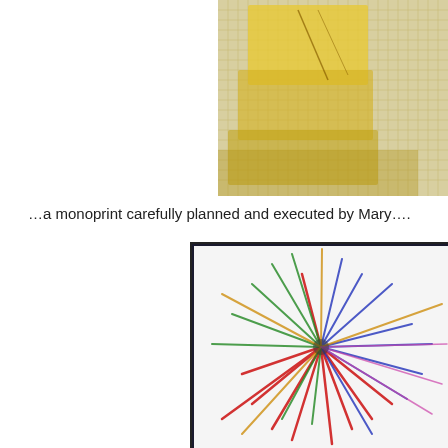[Figure (photo): A yellow monoprint artwork on white paper showing layered rectangular and abstract shapes printed with a grid-textured medium, top-right area of the page.]
…a monoprint carefully planned and executed by Mary….
[Figure (photo): A colorful monoprint artwork framed in dark border, showing an explosive burst of multicolored brushstrokes in red, blue, green, yellow, and white radiating from the center, bottom-right area of the page.]